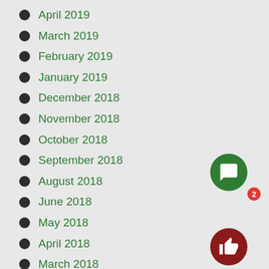April 2019
March 2019
February 2019
January 2019
December 2018
November 2018
October 2018
September 2018
August 2018
June 2018
May 2018
April 2018
March 2018
February 2018
January 2018
December 2017
November 2017
October 2017
September 2017